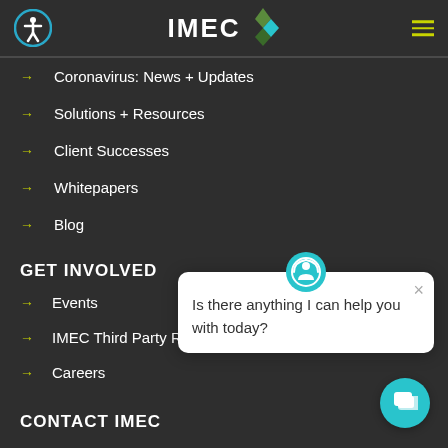IMEC (logo with navigation header)
Coronavirus: News + Updates
Solutions + Resources
Client Successes
Whitepapers
Blog
GET INVOLVED
Events
IMEC Third Party Res...
Careers
[Figure (screenshot): Chat popup with headset icon asking 'Is there anything I can help you with today?' with a close X button]
CONTACT IMEC